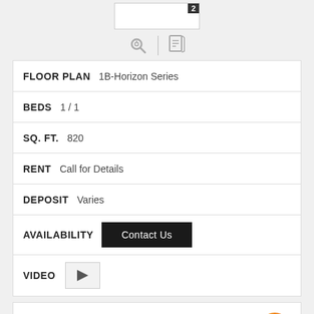[Figure (screenshot): Floor plan thumbnail image with number 2 badge, and magnify/document icons below]
FLOOR PLAN  1B-Horizon Series
BEDS  1 / 1
SQ. FT.  820
RENT  Call for Details
DEPOSIT  Varies
AVAILABILITY  Contact Us
VIDEO
For a virtual tour click here: B_Horizon